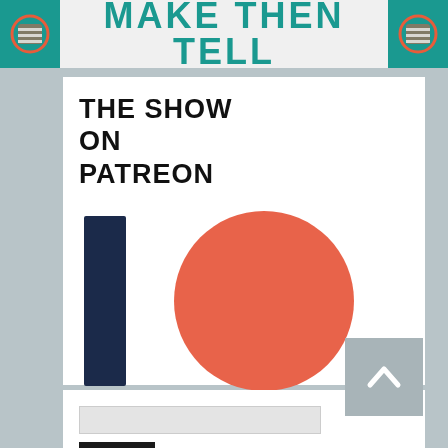MAKE THEN TELL
THE SHOW ON PATREON
[Figure (logo): Patreon logo consisting of a dark navy vertical rectangle bar on the left and a coral/salmon-colored circle on the right]
Support the show on Patreon
[Figure (other): Search widget with a light grey text input field and a dark Search button]